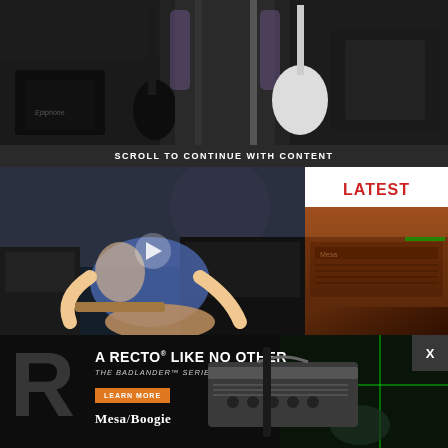[Figure (photo): Tattooed guitarist standing in front of dark backdrop holding multiple guitars including black and white Les Paul style guitars, with Epiphone cases visible]
SCROLL TO CONTINUE WITH CONTENT
[Figure (screenshot): Video player showing guitarist playing Fender Stratocaster style guitar in a room with amplifiers, with a play button overlay]
LATEST
[Figure (photo): Mesa/Boogie amplifier in orange/brown color, partially visible]
[Figure (photo): Advertisement for Mesa/Boogie Badlander Series amplifier. Shows large letter R, text 'A RECTO LIKE NO OTHER', 'THE BADLANDER SERIES', 'LEARN MORE' button, Mesa/Boogie logo, and product image of amplifier head]